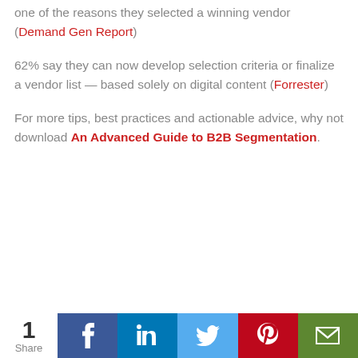one of the reasons they selected a winning vendor (Demand Gen Report)
62% say they can now develop selection criteria or finalize a vendor list — based solely on digital content (Forrester)
For more tips, best practices and actionable advice, why not download An Advanced Guide to B2B Segmentation.
[Figure (infographic): Social share bar with count of 1 and share buttons for Facebook, LinkedIn, Twitter, Pinterest, and Email]